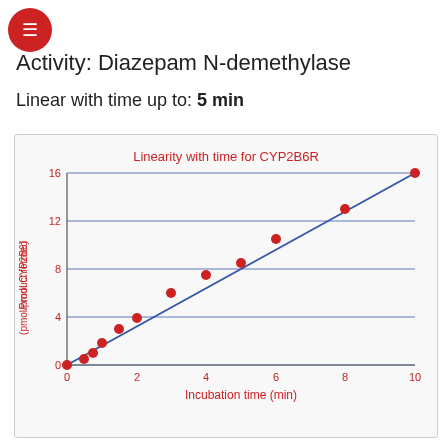Activity: Diazepam N-demethylase
Linear with time up to: 5 min
[Figure (scatter-plot): Linearity with time for CYP2B6R]